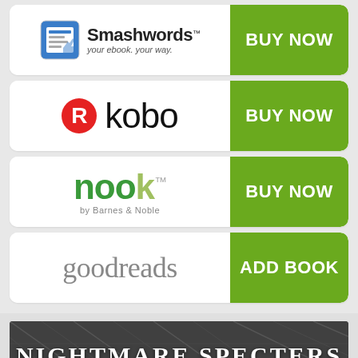[Figure (logo): Smashwords logo with buy now button]
[Figure (logo): Kobo logo with buy now button]
[Figure (logo): Nook by Barnes & Noble logo with buy now button]
[Figure (logo): Goodreads logo with add book button]
[Figure (illustration): Nightmare Specters book banner with dark geometric background and white serif title text]